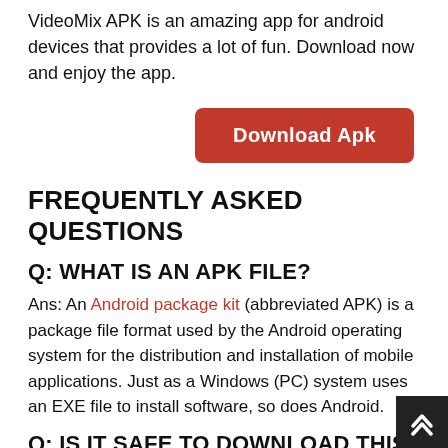VideoMix APK is an amazing app for android devices that provides a lot of fun. Download now and enjoy the app.
[Figure (other): Red download button labeled 'Download Apk']
FREQUENTLY ASKED QUESTIONS
Q: WHAT IS AN APK FILE?
Ans: An Android package kit (abbreviated APK) is a package file format used by the Android operating system for the distribution and installation of mobile applications. Just as a Windows (PC) system uses an EXE file to install software, so does Android.
Q: IS IT SAFE TO DOWNLOAD THIS APP FROM APKHUNT.IN?